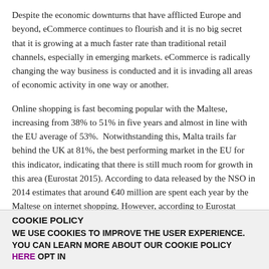Despite the economic downturns that have afflicted Europe and beyond, eCommerce continues to flourish and it is no big secret that it is growing at a much faster rate than traditional retail channels, especially in emerging markets. eCommerce is radically changing the way business is conducted and it is invading all areas of economic activity in one way or another.
Online shopping is fast becoming popular with the Maltese, increasing from 38% to 51% in five years and almost in line with the EU average of 53%.  Notwithstanding this, Malta trails far behind the UK at 81%, the best performing market in the EU for this indicator, indicating that there is still much room for growth in this area (Eurostat 2015). According to data released by the NSO in 2014 estimates that around €40 million are spent each year by the Maltese on internet shopping. However, according to Eurostat 2015, only 13% buy from local sites, whilst 44% shop from other EU countries. This could partly be attributed to the lack of local businesses selling online, with only 12% of Maltese enterprises (MCA 2016) engaging in online selling, amongst other factors.
COOKIE POLICY
WE USE COOKIES TO IMPROVE THE USER EXPERIENCE. YOU CAN LEARN MORE ABOUT OUR COOKIE POLICY HERE OPT IN